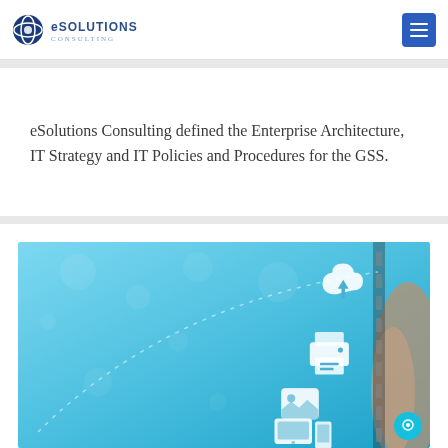eSolutions CONSULTING
eSolutions Consulting defined the Enterprise Architecture, IT Strategy and IT Policies and Procedures for the GSS.
[Figure (photo): Blue technology background with floating digital icons including cloud upload, printer, photo, and tablet/phone, with a hand visible on the right side suggesting digital connectivity]